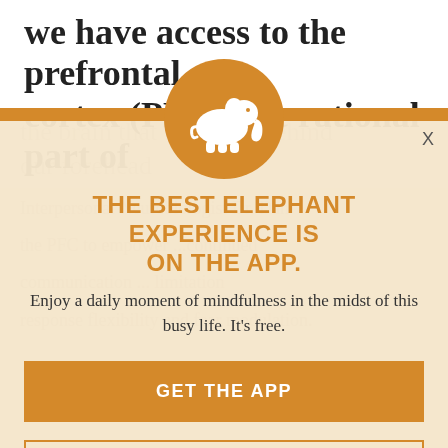we have access to the prefrontal cortex (PFC), the rational part of the brain that lies right behind our forehead
Interpersonal Neurobiologist Dr. Dan ... the PFC to empower ... continued communication ... response flexibility and fear modulation.
[Figure (logo): Orange circle with white elephant silhouette icon]
THE BEST ELEPHANT EXPERIENCE IS ON THE APP.
Enjoy a daily moment of mindfulness in the midst of this busy life. It's free.
GET THE APP
OPEN IN APP